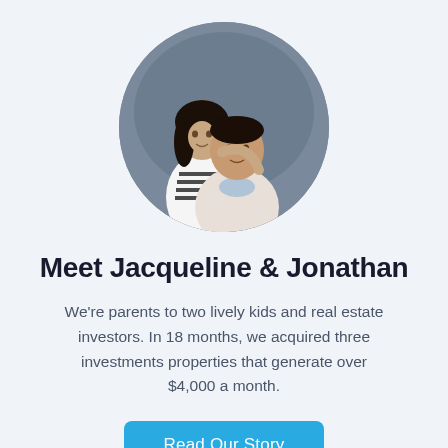[Figure (photo): Circular portrait photo of a couple — a woman with long dark hair wearing a black-and-white striped top standing behind a seated man in a light beige zip-up top, against a grey studio background.]
Meet Jacqueline & Jonathan
We're parents to two lively kids and real estate investors. In 18 months, we acquired three investments properties that generate over $4,000 a month.
Read Our Story